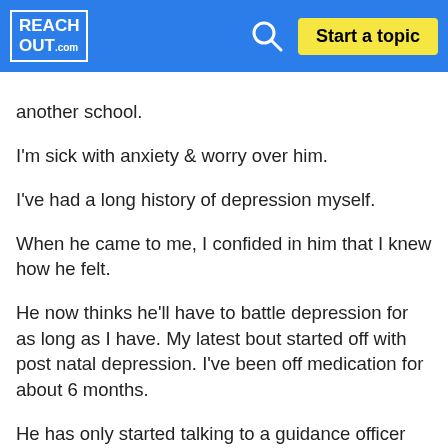REACHOUT.com | Start a topic
another school.
I'm sick with anxiety & worry over him.
I've had a long history of depression myself.
When he came to me, I confided in him that I knew how he felt.
He now thinks he'll have to battle depression for as long as I have. My latest bout started off with post natal depression. I've been off medication for about 6 months.
He has only started talking to a guidance officer but won't talk to anyone else.
I'm extremely concerned he's about to tip over the edge & explode.
I've told him I don't know how to help him if he keeps thinking fighting is a solution.
He says he feels numb. I explained that's